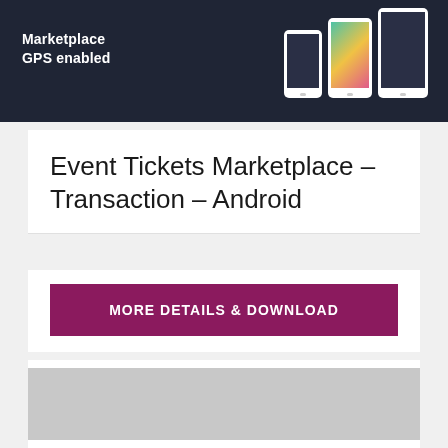[Figure (screenshot): Dark banner image showing 'Marketplace GPS enabled' text with mobile phone mockups on the right side]
Event Tickets Marketplace – Transaction – Android
MORE DETAILS & DOWNLOAD
[Figure (photo): Gray placeholder image at the bottom of the page]